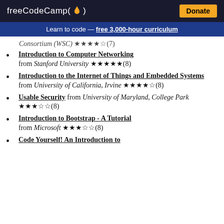freeCodeCamp(🔥) | Donate
Learn to code — free 3,000-hour curriculum
Consortium (WSC) ★★★★☆(7)
Introduction to Computer Networking from Stanford University ★★★★★(8)
Introduction to the Internet of Things and Embedded Systems from University of California, Irvine ★★★★☆(8)
Usable Security from University of Maryland, College Park ★★★☆☆(8)
Introduction to Bootstrap - A Tutorial from Microsoft ★★★☆☆(8)
Code Yourself! An Introduction to